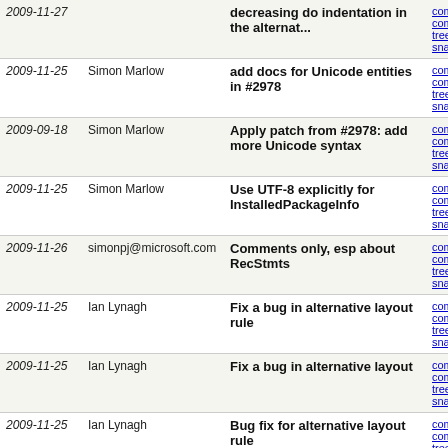| Date | Author | Message | Links |
| --- | --- | --- | --- |
| 2009-11-27 |  | decreasing do indentation in the alternat... | commit | commitdiff | tree | snapshot |
| 2009-11-25 | Simon Marlow | add docs for Unicode entities in #2978 | commit | commitdiff | tree | snapshot |
| 2009-09-18 | Simon Marlow | Apply patch from #2978: add more Unicode syntax | commit | commitdiff | tree | snapshot |
| 2009-11-25 | Simon Marlow | Use UTF-8 explicitly for InstalledPackageInfo | commit | commitdiff | tree | snapshot |
| 2009-11-26 | simonpj@microsoft.com | Comments only, esp about RecStmts | commit | commitdiff | tree | snapshot |
| 2009-11-25 | Ian Lynagh | Fix a bug in alternative layout rule | commit | commitdiff | tree | snapshot |
| 2009-11-25 | Ian Lynagh | Fix a bug in alternative layout | commit | commitdiff | tree | snapshot |
| 2009-11-25 | Ian Lynagh | Bug fix for alternative layout rule | commit | commitdiff | tree | snapshot |
| 2009-11-25 | Ian Lynagh | Tweak alternative layout rule | commit | commitdiff | tree | snapshot |
| 2009-11-25 | Ian Lynagh | Add unboxed parentheses to the alternative layout rule | commit | commitdiff | tree | snapshot |